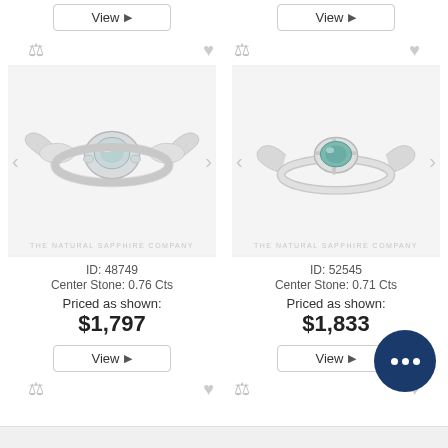[Figure (other): Two View buttons at the top of the page, one for each product column]
[Figure (photo): Ring product photo left: white gold filigree ring with round light blue/white sapphire center stone, ID 48749. THE NATURAL SAPPHIRE COMPANY watermark.]
[Figure (photo): Ring product photo right: white gold solitaire ring with oval teal/blue sapphire center stone, ID 52545. THE NATURAL SAPPHIRE COMPANY watermark.]
ID: 48749
Center Stone: 0.76 Cts
Priced as shown:
$1,797
ID: 52545
Center Stone: 0.71 Cts
Priced as shown:
$1,833